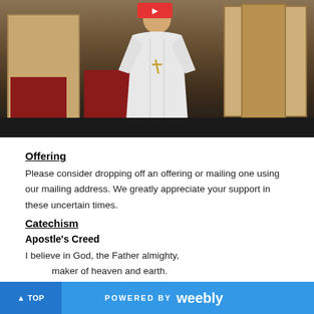[Figure (photo): A priest in white vestments standing at the altar in a church interior, with wooden furniture and red pews visible in the background. A dark bar is visible at the bottom of the video player.]
Offering
Please consider dropping off an offering or mailing one using our mailing address. We greatly appreciate your support in these uncertain times.
Catechism
Apostle's Creed
I believe in God, the Father almighty,
    maker of heaven and earth.
I believe in Jesus Christ, his only Son, our Lord,
    who was conceived by the Holy Spirit
    born of the virgin Mary,
▲ TOP    POWERED BY weebly